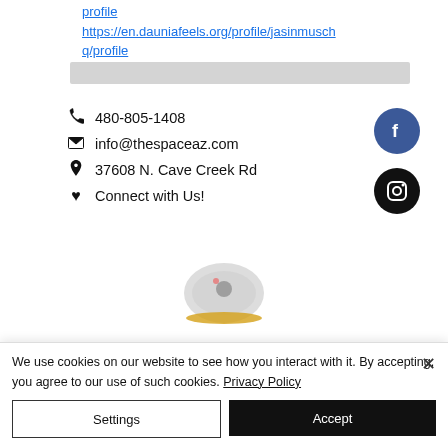profile
https://en.dauniafeels.org/profile/jasinmuschq/profile
[Figure (other): Gray placeholder bar]
📞 480-805-1408
✉ info@thespaceaz.com
📍 37608 N. Cave Creek Rd
♥ Connect with Us!
[Figure (logo): Facebook icon - blue circle with white f]
[Figure (logo): Instagram icon - black circle with camera outline]
[Figure (logo): Partially visible circular logo/emblem at bottom center]
We use cookies on our website to see how you interact with it. By accepting, you agree to our use of such cookies. Privacy Policy
Settings
Accept